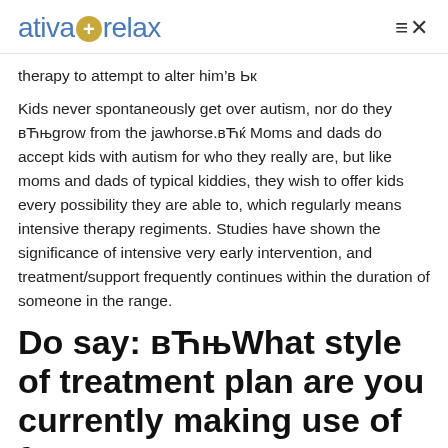ativa+relax
therapy to attempt to alter him’в Ьк
Kids never spontaneously get over autism, nor do they вЋњgrow from the jawhorse.вЋќ Moms and dads do accept kids with autism for who they really are, but like moms and dads of typical kiddies, they wish to offer kids every possibility they are able to, which regularly means intensive therapy regiments. Studies have shown the significance of intensive very early intervention, and treatment/support frequently continues within the duration of someone in the range.
Do say: вЋњWhat style of treatment plan are you currently making use of for